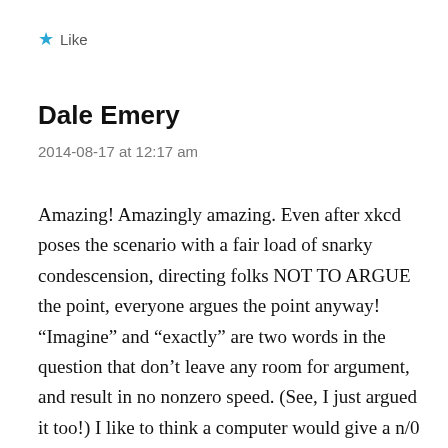Like
Dale Emery
2014-08-17 at 12:17 am
Amazing! Amazingly amazing. Even after xkcd poses the scenario with a fair load of snarky condescension, directing folks NOT TO ARGUE the point, everyone argues the point anyway! “Imagine” and “exactly” are two words in the question that don’t leave any room for argument, and result in no nonzero speed. (See, I just argued it too!) I like to think a computer would give a n/0